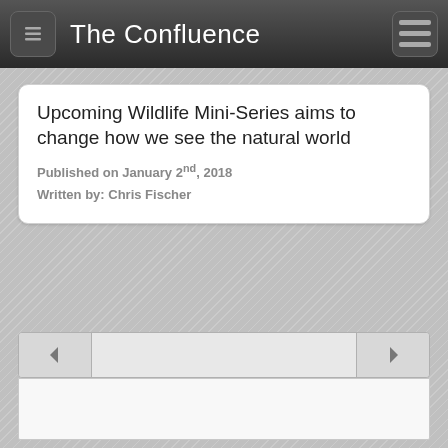The Confluence
Upcoming Wildlife Mini-Series aims to change how we see the natural world
Published on January 2nd, 2018
Written by: Chris Fischer
[Figure (screenshot): Navigation slider bar with left and right arrow buttons and a gray track]